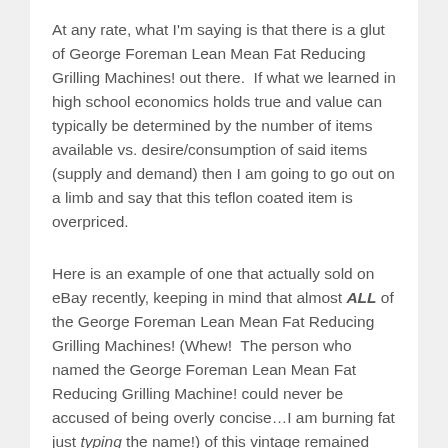At any rate, what I'm saying is that there is a glut of George Foreman Lean Mean Fat Reducing Grilling Machines! out there.  If what we learned in high school economics holds true and value can typically be determined by the number of items available vs. desire/consumption of said items (supply and demand) then I am going to go out on a limb and say that this teflon coated item is overpriced.
Here is an example of one that actually sold on eBay recently, keeping in mind that almost ALL of the George Foreman Lean Mean Fat Reducing Grilling Machines! (Whew!  The person who named the George Foreman Lean Mean Fat Reducing Grilling Machine! could never be accused of being overly concise…I am burning fat just typing the name!) of this vintage remained unsold: